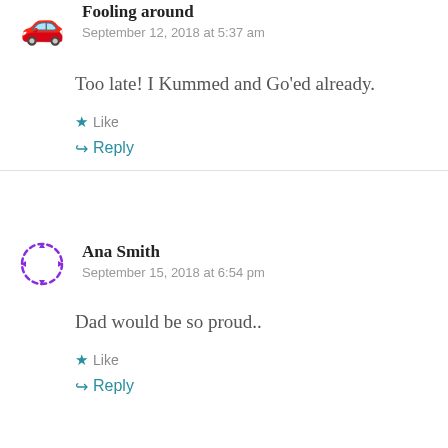Fooling around
September 12, 2018 at 5:37 am
Too late! I Kummed and Go'ed already.
Like
Reply
Ana Smith
September 15, 2018 at 6:54 pm
Dad would be so proud..
Like
Reply